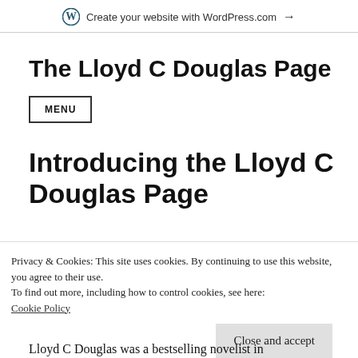Create your website with WordPress.com →
The Lloyd C Douglas Page
MENU
Introducing the Lloyd C Douglas Page
Privacy & Cookies: This site uses cookies. By continuing to use this website, you agree to their use.
To find out more, including how to control cookies, see here:
Cookie Policy

Close and accept
Lloyd C Douglas was a bestselling novelist in